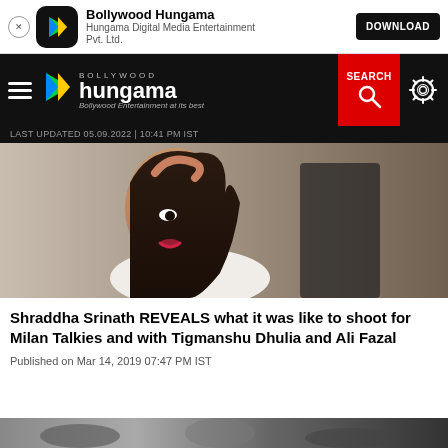Bollywood Hungama — Hungama Digital Media Entertainment Pvt. Ltd. — DOWNLOAD
BOLLYWOOD hungama — Bollywood Entertainment at its best — SEARCH — LAST UPDATED 05.09.2022 | 10:41 PM IST
[Figure (photo): Portrait photo of Shraddha Srinath, a woman with long dark hair wearing a white outfit, looking at camera]
Shraddha Srinath REVEALS what it was like to shoot for Milan Talkies and with Tigmanshu Dhulia and Ali Fazal
Published on Mar 14, 2019 07:47 PM IST
[Figure (photo): Bottom thumbnail strip — partially visible image]